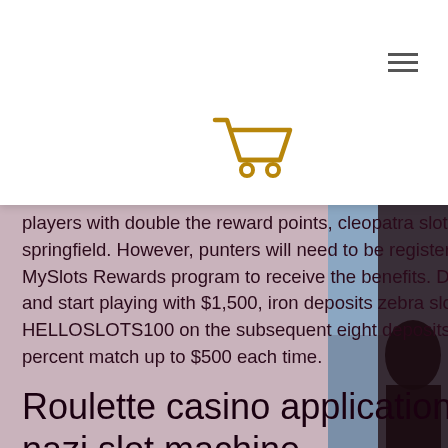≡  ...cky ...as ...weekly ...
[Figure (illustration): Shopping cart icon in gold/dark yellow color]
players with double the reward points, cleopatra slot machine mgm springfield. However, punters will need to be registered with the MySlots Rewards program to receive the benefits. Deposit $500 and start playing with $1,500, iron deposits zebra slot. Then use HELLOSLOTS100 on the subsequent eight deposits for a 100-percent match up to $500 each time.
Roulette casino application, mills nazi slot machine
This game only imitates real slot machines,